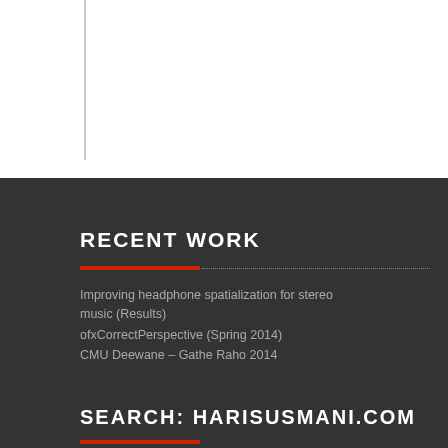RECENT WORK
Improving headphone spatialization for stereo music (Results)
ofxCorrectPerspective (Spring 2014)
CMU Deewane – Gathe Raho 2014
SEARCH: HARISUSMANI.COM